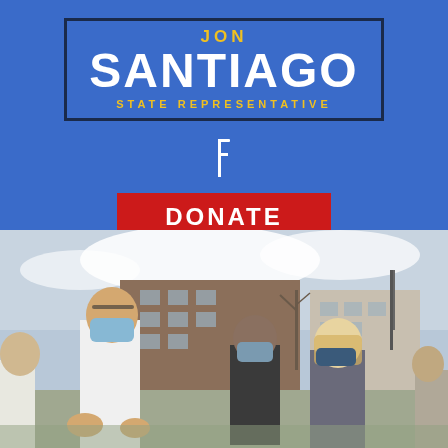JON SANTIAGO STATE REPRESENTATIVE
[Figure (logo): Jon Santiago State Representative campaign logo - white and yellow text on blue background with dark navy border box]
[Figure (other): Facebook social media icon in white on blue background]
DONATE
[Figure (photo): Outdoor photo of a man in a white lab coat and blue surgical mask speaking to a group of masked people outdoors in an urban setting with brick buildings in the background]